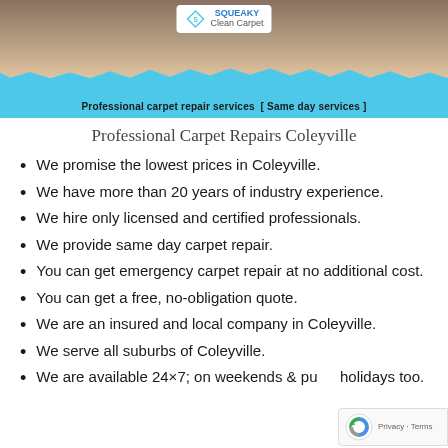[Figure (photo): Banner image showing carpet repair work with Squeaky Clean Carpet logo and blue wave design, with tagline 'Professional carpet repair services [ Same day services ]']
Professional Carpet Repairs Coleyville
We promise the lowest prices in Coleyville.
We have more than 20 years of industry experience.
We hire only licensed and certified professionals.
We provide same day carpet repair.
You can get emergency carpet repair at no additional cost.
You can get a free, no-obligation quote.
We are an insured and local company in Coleyville.
We serve all suburbs of Coleyville.
We are available 24×7; on weekends & public holidays too.